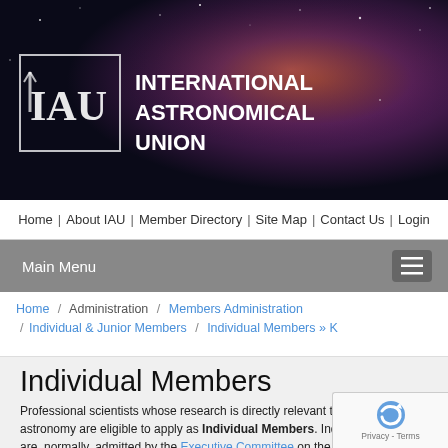[Figure (logo): IAU header banner with nebula background, IAU logo box and organization name text]
Home | About IAU | Member Directory | Site Map | Contact Us | Login
Main Menu
Home / Administration / Members Administration / Individual & Junior Members / Individual Members » K
Individual Members
Professional scientists whose research is directly relevant to some branch of astronomy are eligible to apply as Individual Members. Individual Members are, normally, admitted by the Executive Committee on the proposal of a National Member.
Individual Members listed in the IAU Directory have a valid, public e... are affiliated to at least one Division. They are labeled as "Active Me... For corrections and updates, please contact iauinfos@iap.fr. Any m... remaining Inactive for more than 3 years will be removed from the IAU lists.